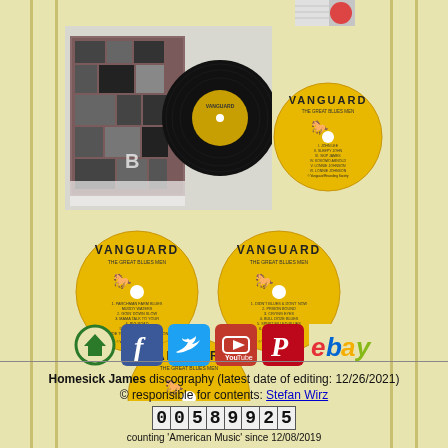[Figure (photo): Photos of Vanguard vinyl records - The Great Blues Men album. Shows album sleeve with collage cover, vinyl record, and multiple yellow Vanguard record labels.]
[Figure (infographic): Social media icon links row: Home (green circle), Facebook (blue), Twitter (blue bird), YouTube (red), Pinterest (red), eBay (multicolor text)]
Homesick James discography (latest date of editing: 12/26/2021)
© responsible for contents: Stefan Wirz
00589925
counting 'American Music' since 12/08/2019